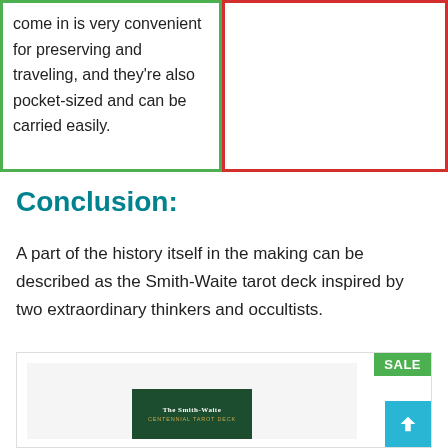come in is very convenient for preserving and traveling, and they're also pocket-sized and can be carried easily.
Conclusion:
A part of the history itself in the making can be described as the Smith-Waite tarot deck inspired by two extraordinary thinkers and occultists.
[Figure (photo): Product card showing The Smith-Waite Centennial Tarot Deck box with a green SALE badge and a teal scroll-to-top button]